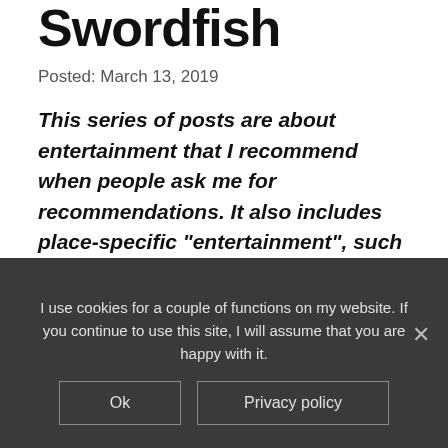Swordfish
Posted: March 13, 2019
This series of posts are about entertainment that I recommend when people ask me for recommendations. It also includes place-specific “entertainment”, such as beautiful gardens; it might be stretching the definition of entertainment, but I enjoy myself in the places I recommend.
I use cookies for a couple of functions on my website. If you continue to use this site, I will assume that you are happy with it.